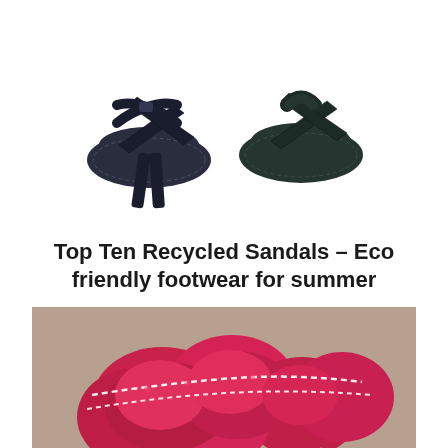[Figure (photo): Two pairs of dark leather/suede cross-strap sandals on white background – left pair is navy/dark blue suede, right pair is dark teal/green leather, both with woven cross straps and stitched soles]
Top Ten Recycled Sandals – Eco friendly footwear for summer
[Figure (photo): Close-up photo of bright pink/magenta felted fabric flower or decorative element with stitching, on a natural/beige background]